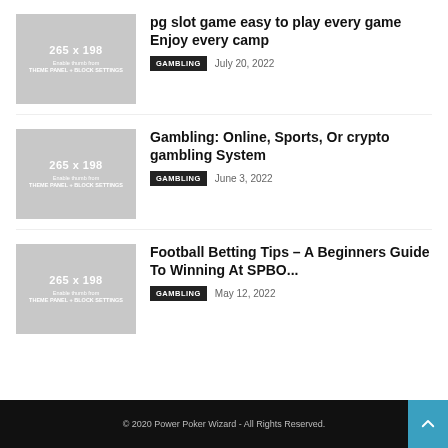[Figure (other): Placeholder thumbnail 265x198 with text 'Enable thumb from THEME PANEL + BLOCK SETTINGS']
pg slot game easy to play every game Enjoy every camp
GAMBLING   July 20, 2022
[Figure (other): Placeholder thumbnail 265x198 with text 'Enable thumb from THEME PANEL + BLOCK SETTINGS']
Gambling: Online, Sports, Or crypto gambling System
GAMBLING   June 3, 2022
[Figure (other): Placeholder thumbnail 265x198 with text 'Enable thumb from THEME PANEL + BLOCK SETTINGS']
Football Betting Tips – A Beginners Guide To Winning At SPBO...
GAMBLING   May 12, 2022
© 2020 Power Poker Wizard - All Rights Reserved.